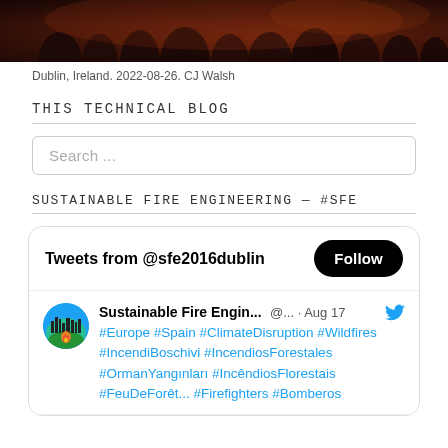[Figure (photo): Dark photo of a crowd of people at an event, taken from behind, low-light reddish-brown tones]
Dublin, Ireland. 2022-08-26. CJ Walsh
THIS TECHNICAL BLOG
Search ...
SUSTAINABLE FIRE ENGINEERING — #SFE
[Figure (screenshot): Twitter widget showing Tweets from @sfe2016dublin with a Follow button, and a tweet from Sustainable Fire Engin... @... Aug 17 with hashtags #Europe #Spain #ClimateDisruption #Wildfires #IncendiBoschivi #IncendiosForestales #OrmanYangınları #IncêndiosFlorestais #FeuDeForêt... #Firefighters #Bomberos]